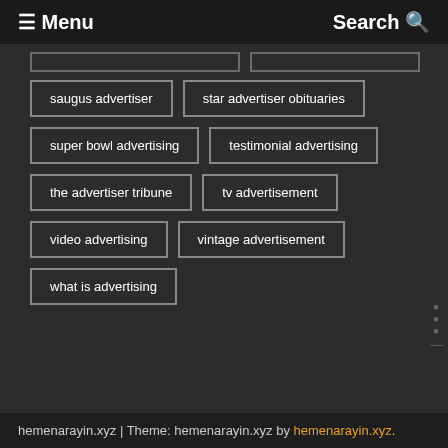≡ Menu | Search
saugus advertiser
star advertiser obituaries
super bowl advertising
testimonial advertising
the advertiser tribune
tv advertisement
video advertising
vintage advertisement
what is advertising
hemenarayin.xyz | Theme: hemenarayin.xyz by hemenarayin.xyz.